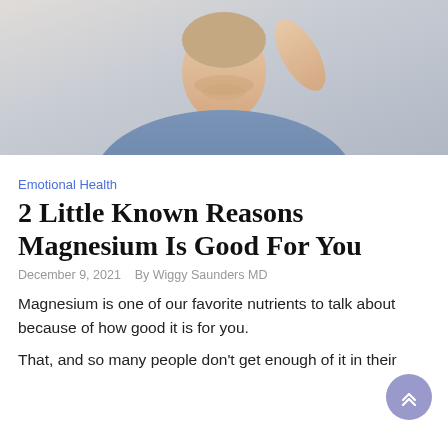[Figure (photo): A man in a blue v-neck t-shirt with his hand raised to his head, against a light background]
Emotional Health
2 Little Known Reasons Magnesium Is Good For You
December 9, 2021   By Wiggy Saunders MD
Magnesium is one of our favorite nutrients to talk about because of how good it is for you.
That, and so many people don't get enough of it in their